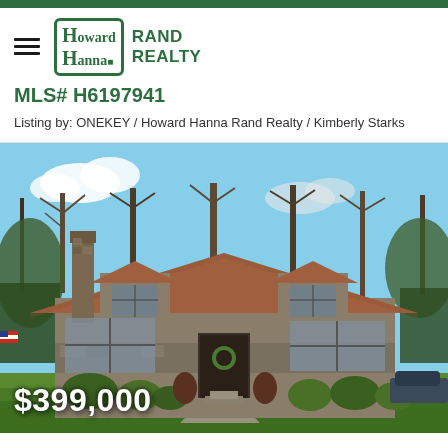[Figure (logo): Howard Hanna Rand Realty logo with hamburger menu icon]
MLS# H6197941
Listing by: ONEKEY / Howard Hanna Rand Realty / Kimberly Starks
[Figure (photo): Exterior photo of a residential home with brown/tan siding, steep brown shingled roof with dormers, stone chimney, green landscaping and lawn, blue sky with clouds, trees in background. Price overlay shows $399,000]
$399,000